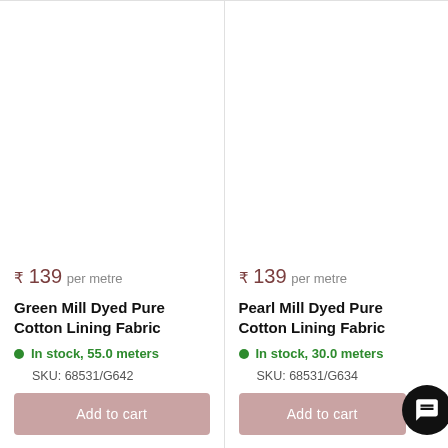₹ 139 per metre
Green Mill Dyed Pure Cotton Lining Fabric
In stock, 55.0 meters
SKU: 68531/G642
Add to cart
₹ 139 per metre
Pearl Mill Dyed Pure Cotton Lining Fabric
In stock, 30.0 meters
SKU: 68531/G634
Add to cart